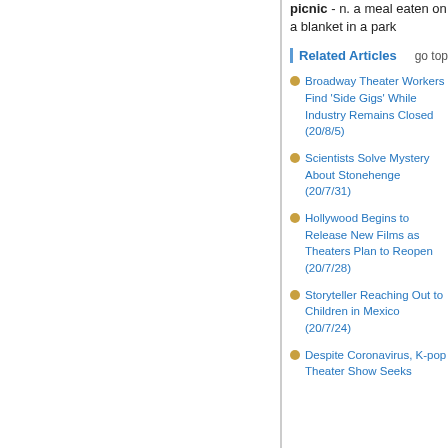picnic - n. a meal eaten on a blanket in a park
Related Articles    go top
Broadway Theater Workers Find 'Side Gigs' While Industry Remains Closed (20/8/5)
Scientists Solve Mystery About Stonehenge (20/7/31)
Hollywood Begins to Release New Films as Theaters Plan to Reopen (20/7/28)
Storyteller Reaching Out to Children in Mexico (20/7/24)
Despite Coronavirus, K-pop Theater Show Seeks...